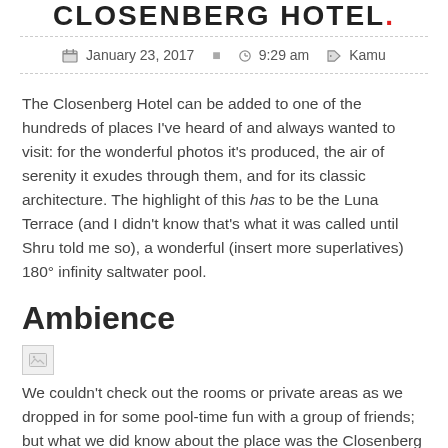CLOSENBERG HOTEL.
January 23, 2017   9:29 am   Kamu
The Closenberg Hotel can be added to one of the hundreds of places I've heard of and always wanted to visit: for the wonderful photos it's produced, the air of serenity it exudes through them, and for its classic architecture. The highlight of this has to be the Luna Terrace (and I didn't know that's what it was called until Shru told me so), a wonderful (insert more superlatives) 180° infinity saltwater pool.
Ambience
[Figure (photo): Broken image placeholder]
We couldn't check out the rooms or private areas as we dropped in for some pool-time fun with a group of friends; but what we did know about the place was the Closenberg th